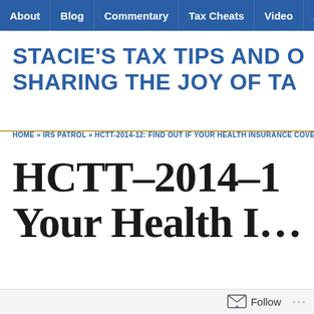About | Blog | Commentary | Tax Cheats | Video | As…
STACIE'S TAX TIPS AND O… SHARING THE JOY OF TA…
HOME » IRS PATROL » HCTT-2014-12: FIND OUT IF YOUR HEALTH INSURANCE COVERA…
HCTT-2014-1… Your Health I…